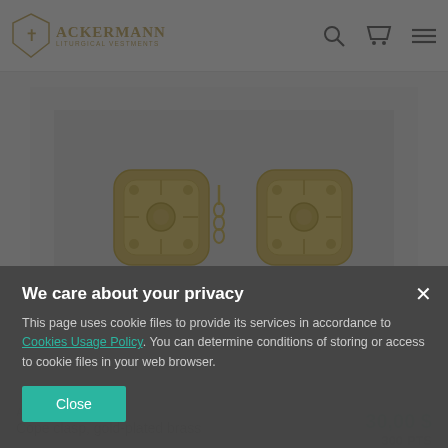[Figure (logo): Ackermann Liturgical Vestments logo with shield icon and gold text]
[Figure (photo): Gold-plated brass cope clasp product photo on light gray background]
ACKERMANN
Cope clasp, gold-plated brass
30,00 $
300 PTS
We care about your privacy
This page uses cookie files to provide its services in accordance to Cookies Usage Policy. You can determine conditions of storing or access to cookie files in your web browser.
Close